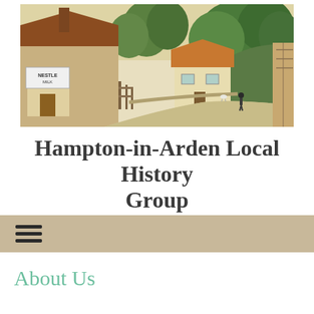[Figure (photo): Vintage postcard-style illustration of a village street scene with old English cottages, trees lining a lane, and a figure walking in the distance. A shop with 'NESTLE MILK' signage is visible on the left.]
Hampton-in-Arden Local History Group
[Figure (other): Navigation bar with hamburger menu icon (three horizontal lines) on a tan/beige background]
About Us
The Hampton-in-Arden Local History Group was